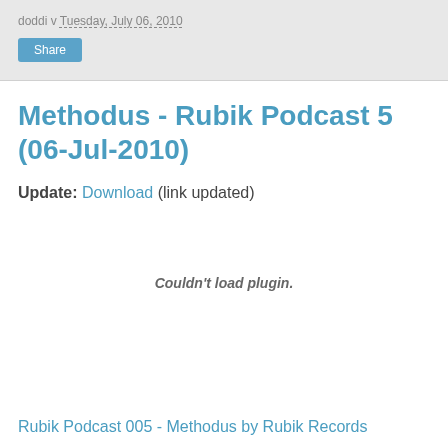doddi v Tuesday, July 06, 2010
Methodus - Rubik Podcast 5 (06-Jul-2010)
Update: Download (link updated)
Couldn't load plugin.
Rubik Podcast 005 - Methodus by Rubik Records